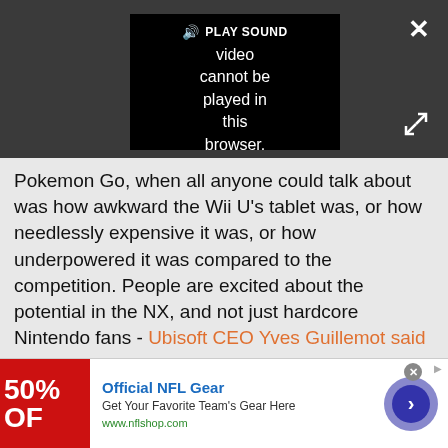[Figure (screenshot): Embedded video player with dark background showing error message: 'Video cannot be played in this browser. (Error Cod' with PLAY SOUND button, close button (X) and expand button.]
Pokemon Go, when all anyone could talk about was how awkward the Wii U's tablet was, or how needlessly expensive it was, or how underpowered it was compared to the competition. People are excited about the potential in the NX, and not just hardcore Nintendo fans - Ubisoft CEO Yves Guillemot said on a recent earnings call that he believes the NX will "take a lot more casual players back to the industry." How that will happen is still a mystery until Nintendo officially unveils it, but it's clear that mobile is going to
[Figure (screenshot): Advertisement banner for Official NFL Gear. Red image on left showing '50% OF', blue title text 'Official NFL Gear', subtitle 'Get Your Favorite Team's Gear Here', green URL 'www.nflshop.com', purple circle arrow button on right.]